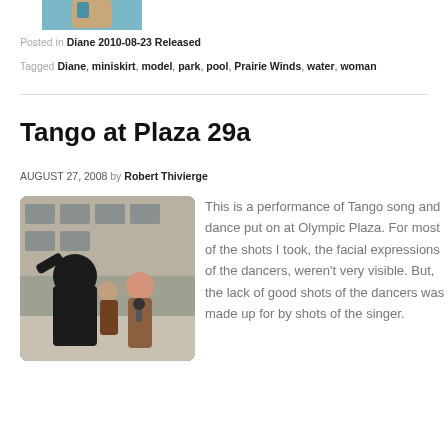[Figure (photo): Partial top-cropped photo of a person near water/pool area]
Posted in Diane 2010-08-23 Released
Tagged Diane, miniskirt, model, park, pool, Prairie Winds, water, woman
Tango at Plaza 29a
AUGUST 27, 2008 by Robert Thivierge
[Figure (photo): Photo of tango dancers at Olympic Plaza, showing a man from behind and a woman holding a microphone]
This is a performance of Tango song and dance put on at Olympic Plaza. For most of the shots I took, the facial expressions of the dancers, weren't very visible. But, the lack of good shots of the dancers was made up for by shots of the singer.